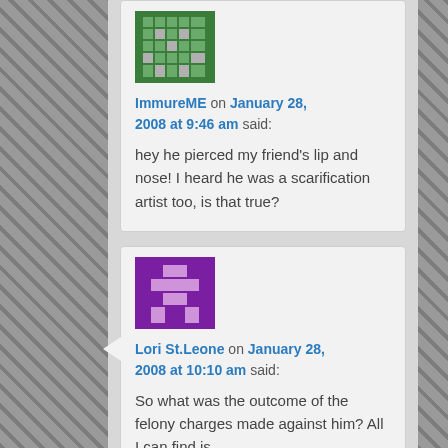[Figure (illustration): Pixel art avatar for ImmureME — green and grey blocky character on green background]
ImmureME on January 28, 2008 at 9:46 am said:
hey he pierced my friend's lip and nose! I heard he was a scarification artist too, is that true?
[Figure (illustration): Pixel art avatar for Lori St.Leone — purple and light-purple cross/figure on dark purple background]
Lori St.Leone on January 28, 2008 at 10:10 am said:
So what was the outcome of the felony charges made against him? All I can find is